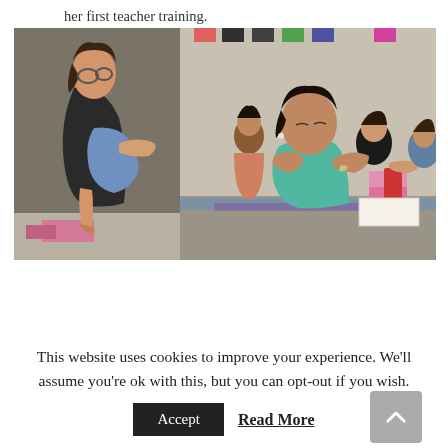her first teacher training.
[Figure (photo): Two-panel photo of a yoga teacher training class. Left panel shows a woman with glasses in a side-bending yoga pose on a pink block. Right panel shows several women in a yoga studio practicing seated poses, with yoga blocks and mats visible.]
This website uses cookies to improve your experience. We'll assume you're ok with this, but you can opt-out if you wish.
Accept
Read More